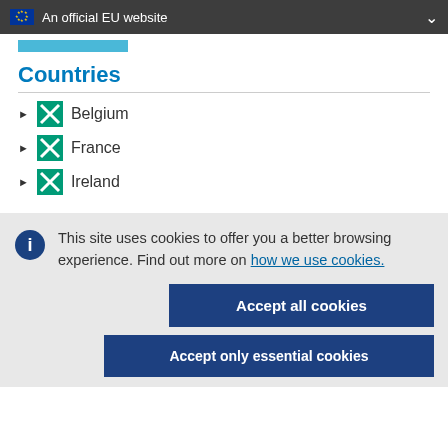An official EU website
Countries
Belgium
France
Ireland
This site uses cookies to offer you a better browsing experience. Find out more on how we use cookies.
Accept all cookies
Accept only essential cookies